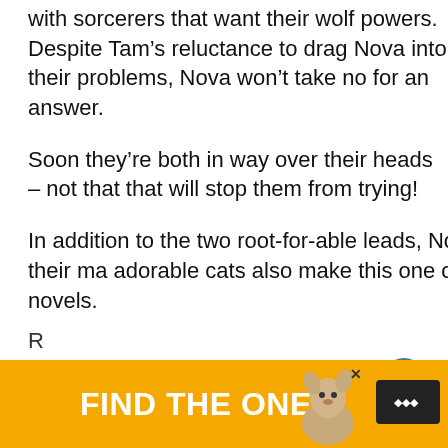with sorcerers that want their wolf powers. Despite Tam's reluctance to drag Nova into their problems, Nova won't take no for an answer.
Soon they're both in way over their heads – not that that will stop them from trying!
In addition to the two root-for-able leads, Nova's badass grandmothers and their ma adorable cats also make this one of the cutest LGBTQ graphic novels.
[Figure (screenshot): WHAT'S NEXT arrow callout with '40 Inspiring LGBTQ Boo...' text and circular book cover icon]
[Figure (screenshot): Heart/favorite button (teal circle with heart icon) and share button (grey circle with share icon)]
[Figure (advertisement): Yellow advertisement banner reading FIND THE ONE with dog photo, close button, and menu icon]